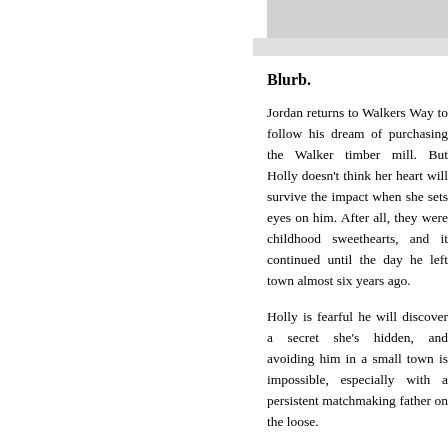[Figure (photo): Partial book cover image visible in top right corner]
Blurb.
Jordan returns to Walkers Way to follow his dream of purchasing the Walker timber mill. But Holly doesn't think her heart will survive the impact when she sets eyes on him. After all, they were childhood sweethearts, and it continued until the day he left town almost six years ago.
Holly is fearful he will discover a secret she's hidden, and avoiding him in a small town is impossible, especially with a persistent matchmaking father on the loose.
Her father and Jordan organise